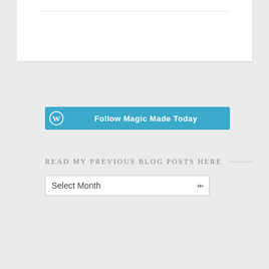[Figure (screenshot): White card area with a dotted top border line, representing a blog post or content card.]
[Figure (screenshot): WordPress-branded blue button labeled 'Follow Magic Made Today' with the WordPress circular logo icon on the left side.]
READ MY PREVIOUS BLOG POSTS HERE
[Figure (screenshot): A dropdown select input labeled 'Select Month' with a chevron arrow on the right side.]